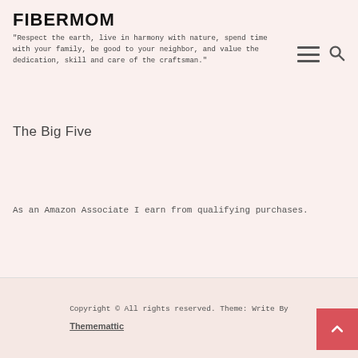FIBERMOM
"Respect the earth, live in harmony with nature, spend time with your family, be good to your neighbor, and value the dedication, skill and care of the craftsman."
The Big Five
As an Amazon Associate I earn from qualifying purchases.
Copyright © All rights reserved. Theme: Write By Thememattic